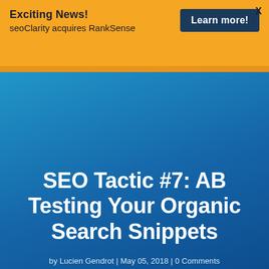Exciting News! seoClarity acquires RankSense — Learn more!
SEO Tactic #7: AB Testing Your Organic Search Snippets
by Lucien Gendrot | May 05, 2018 | 0 Comments